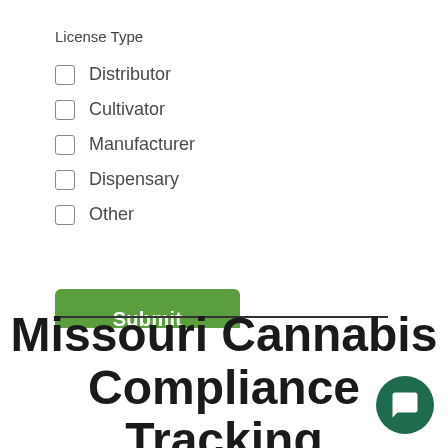License Type
Distributor
Cultivator
Manufacturer
Dispensary
Other
Submit
Missouri Cannabis Compliance Tracking